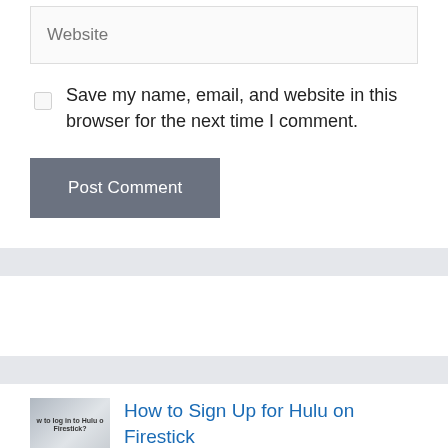Website
Save my name, email, and website in this browser for the next time I comment.
Post Comment
[Figure (photo): Thumbnail image showing a hand holding a remote near a Firestick with text 'How to log in to Hulu on Firestick?']
How to Sign Up for Hulu on Firestick (Step-by-Step Guide)?